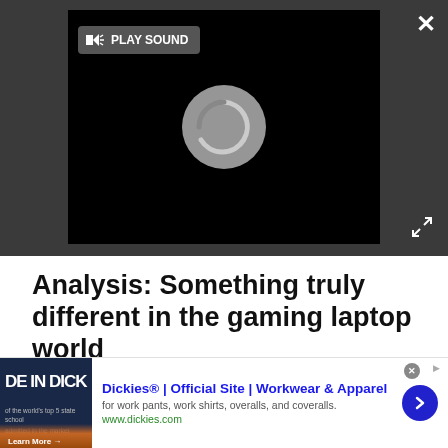[Figure (screenshot): Video player with black background showing a loading spinner circle. A 'PLAY SOUND' button with speaker icon is visible in the top-left of the player. A white X close button is in the top-right of the outer area. An expand/fullscreen icon is at the bottom-right.]
Analysis: Something truly different in the gaming laptop world
We’ve given this glasses-free 3D a shot in the past here at TechRadar and it’s impressive – the tech was demoed by Acer last year (at the time, it was set to theoretically be included in a laptop for creatives using 3D rendering). You can think of it as a giant (15-
[Figure (screenshot): Advertisement banner for Dickies. Shows 'DE IN DICKI' text on dark background image on the left, 'Dickies® | Official Site | Workwear & Apparel' as headline, 'for work pants, work shirts, overalls, and coveralls.' as description, 'www.dickies.com' as URL, and a blue circular arrow button on the right.]